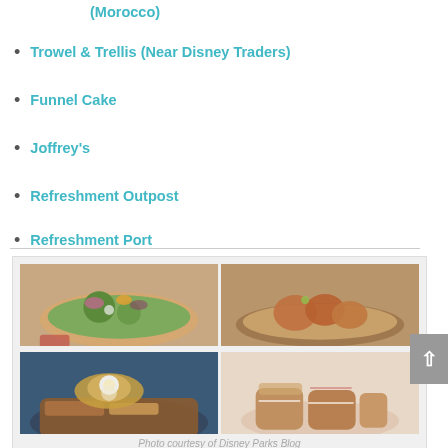(Morocco)
Trowel & Trellis (Near Disney Traders)
Funnel Cake
Joffrey's
Refreshment Outpost
Refreshment Port
[Figure (photo): Four food photos in a 2x2 grid: top-left shows avocado toast with edible flowers and feta; top-right shows fried shrimp dish with garnish; bottom-left shows fried egg benedict with hash; bottom-right shows cinnamon roll bites on a pink plate.]
Photo courtesy of Disney Parks Blog